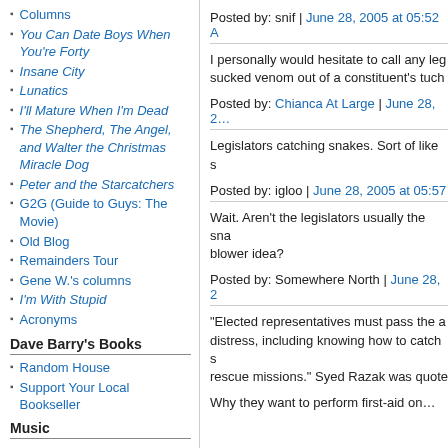Columns
You Can Date Boys When You're Forty
Insane City
Lunatics
I'll Mature When I'm Dead
The Shepherd, The Angel, and Walter the Christmas Miracle Dog
Peter and the Starcatchers
G2G (Guide to Guys: The Movie)
Old Blog
Remainders Tour
Gene W.'s columns
I'm With Stupid
Acronyms
Dave Barry's Books
Random House
Support Your Local Bookseller
Music
Posted by: snif | June 28, 2005 at 05:52 A…
I personally would hesitate to call any leg… sucked venom out of a constituent's tuch…
Posted by: Chianca At Large | June 28, 2…
Legislators catching snakes. Sort of like s…
Posted by: igloo | June 28, 2005 at 05:57…
Wait. Aren't the legislators usually the sna… blower idea?
Posted by: Somewhere North | June 28, 2…
"Elected representatives must pass the a… distress, including knowing how to catch s… rescue missions." Syed Razak was quote…
Why they want to perform first-aid on…